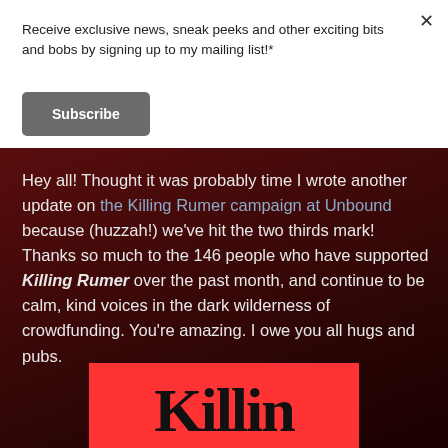Receive exclusive news, sneak peeks and other exciting bits and bobs by signing up to my mailing list!*
Subscribe
Hey all! Thought it was probably time I wrote another update on the Killing Rumer campaign at Unbound because (huzzah!) we've hit the two thirds mark! Thanks so much to the 146 people who have supported Killing Rumer over the past month, and continue to be calm, kind voices in the dark wilderness of crowdfunding. You're amazing. I owe you all hugs and pubs.
[Figure (other): Partial book cover showing red background with large serif text reading 'Killing' in black]